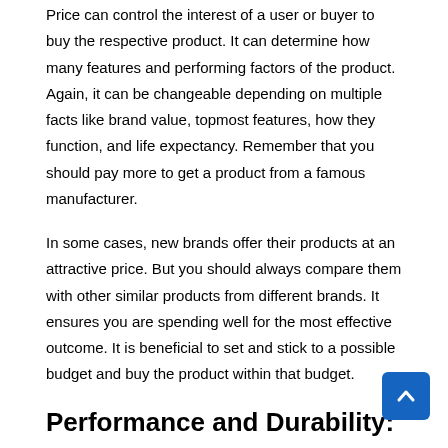Price can control the interest of a user or buyer to buy the respective product. It can determine how many features and performing factors of the product. Again, it can be changeable depending on multiple facts like brand value, topmost features, how they function, and life expectancy. Remember that you should pay more to get a product from a famous manufacturer.
In some cases, new brands offer their products at an attractive price. But you should always compare them with other similar products from different brands. It ensures you are spending well for the most effective outcome. It is beneficial to set and stick to a possible budget and buy the product within that budget.
Performance and Durability:
Performance indicates the compatibility of the product with your applications. Durability is another thing to consider for justifying your investment. You should look at both performance and durability of the respective product.